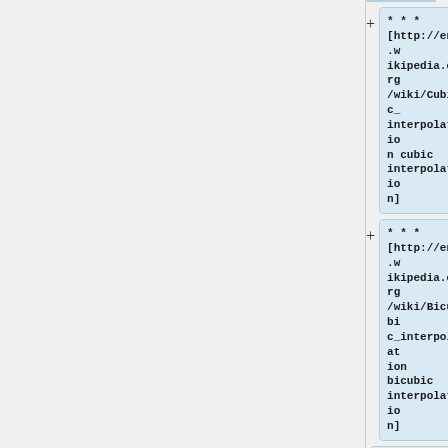*** [http://en.wikipedia.org/wiki/Cubic_interpolation cubic interpolation]
*** [http://en.wikipedia.org/wiki/Bicubic_interpolation bicubic interpolation]
*** [http://en.wikipedia.org/wiki/Trilin...